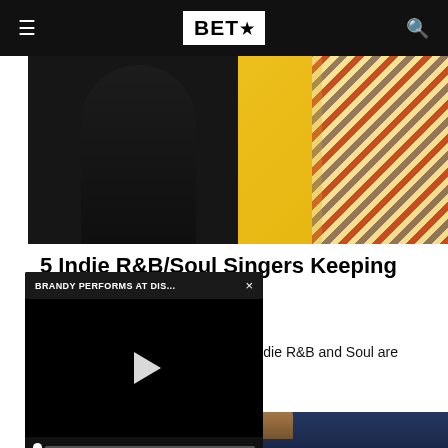BET★
[Figure (photo): Two photos side by side: left shows a person in dark clothing against a dark background; right shows a person in colorful striped clothing against a yellow background.]
5 Indie R&B/Soul Singers Keeping The Genre Alive
These are some artists that prove indie R&B and Soul are thriving.
[Figure (screenshot): Video player overlay showing 'BRANDY PERFORMS AT DIS...' with a play button, progress bar, time display '--:-- / --:--', volume/mute icon, and expand icon.]
[Figure (photo): Photo of a person with blonde hair wearing a dark hoodie and sunglasses, photographed from below against a blue background.]